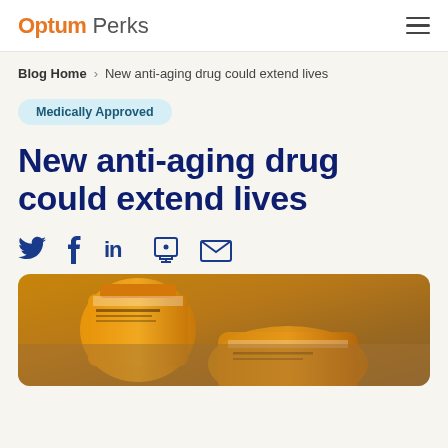Optum Perks
Blog Home > New anti-aging drug could extend lives
Medically Approved
New anti-aging drug could extend lives
[Figure (other): Social share icons: Twitter, Facebook, LinkedIn, Print, Email]
[Figure (photo): Close-up photo of orange prescription pill bottles on a surface]